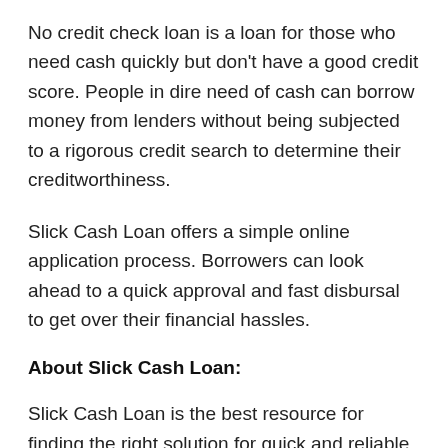No credit check loan is a loan for those who need cash quickly but don't have a good credit score. People in dire need of cash can borrow money from lenders without being subjected to a rigorous credit search to determine their creditworthiness.
Slick Cash Loan offers a simple online application process. Borrowers can look ahead to a quick approval and fast disbursal to get over their financial hassles.
About Slick Cash Loan:
Slick Cash Loan is the best resource for finding the right solution for quick and reliable loans. The loan experts can help borrowers find the best lenders and ensure fast and easy access to the money